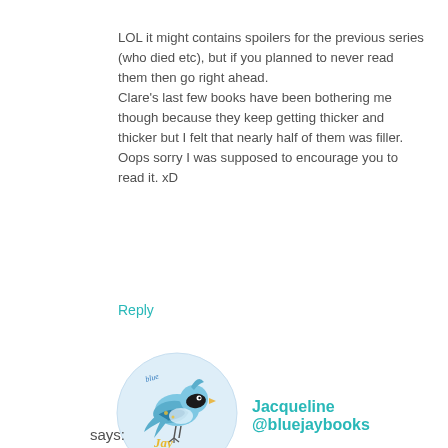LOL it might contains spoilers for the previous series (who died etc), but if you planned to never read them then go right ahead.
Clare's last few books have been bothering me though because they keep getting thicker and thicker but I felt that nearly half of them was filler. Oops sorry I was supposed to encourage you to read it. xD
Reply
[Figure (logo): Circular avatar logo for Blue Jay Books showing a blue jay bird illustration with yellow and blue colors and cursive text 'blue Jay Book']
Jacqueline @bluejaybooks
says: